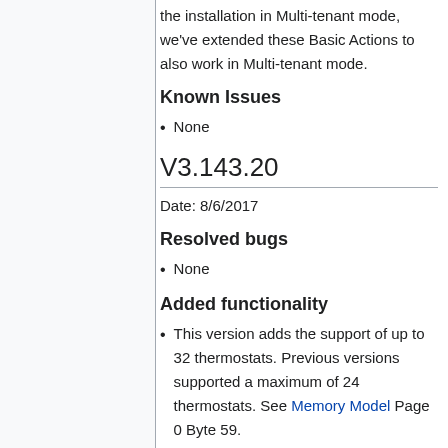the installation in Multi-tenant mode, we've extended these Basic Actions to also work in Multi-tenant mode.
Known Issues
None
V3.143.20
Date: 8/6/2017
Resolved bugs
None
Added functionality
This version adds the support of up to 32 thermostats. Previous versions supported a maximum of 24 thermostats. See Memory Model Page 0 Byte 59.
Due to the above changes, API